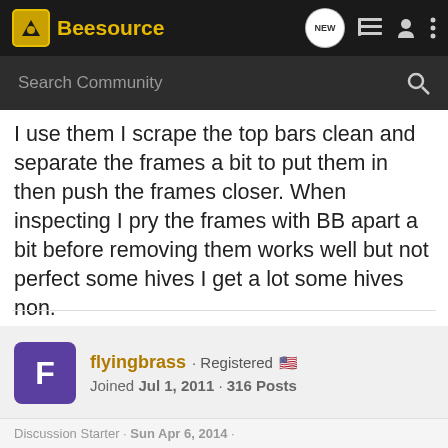Beesource
I use them I scrape the top bars clean and separate the frames a bit to put them in then push the frames closer. When inspecting I pry the frames with BB apart a bit before removing them works well but not perfect some hives I get a lot some hives non.
I'm really not that serious
flyingbrass · Registered · Joined Jul 1, 2011 · 316 Posts